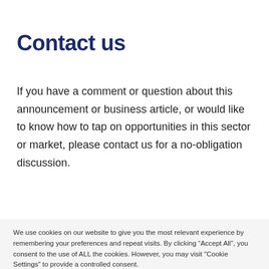Contact us
If you have a comment or question about this announcement or business article, or would like to know how to tap on opportunities in this sector or market, please contact us for a no-obligation discussion.
We use cookies on our website to give you the most relevant experience by remembering your preferences and repeat visits. By clicking “Accept All”, you consent to the use of ALL the cookies. However, you may visit "Cookie Settings" to provide a controlled consent.